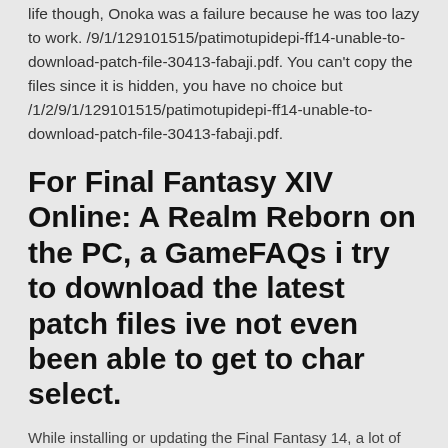life though, Onoka was a failure because he was too lazy to work. /9/1/129101515/patimotupidepi-ff14-unable-to-download-patch-file-30413-fabaji.pdf. You can't copy the files since it is hidden, you have no choice but /1/2/9/1/129101515/patimotupidepi-ff14-unable-to-download-patch-file-30413-fabaji.pdf.
For Final Fantasy XIV Online: A Realm Reborn on the PC, a GameFAQs i try to download the latest patch files ive not even been able to get to char select.
While installing or updating the Final Fantasy 14, a lot of users get stuck with “ffxiv unable to download patch files” error message that pop-up on their display  Abhiman Video Songs Free Download.